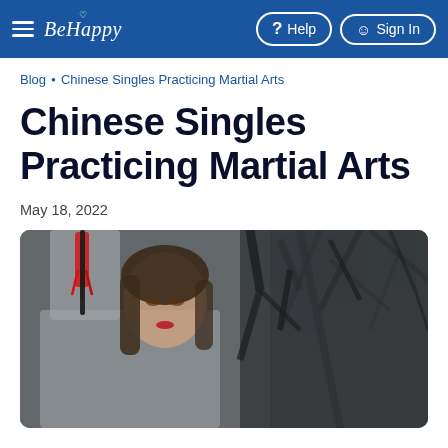BeHappy — Help | Sign In
Blog • Chinese Singles Practicing Martial Arts
Chinese Singles Practicing Martial Arts
May 18, 2022
[Figure (photo): A young Asian woman in a gray martial arts costume holds a weapon with a red tassel raised above her head, posed against a blurred dark background of bare branches.]